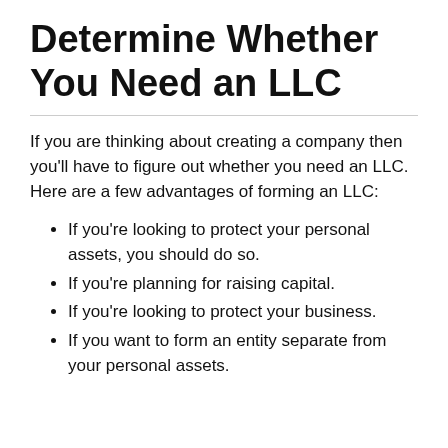Determine Whether You Need an LLC
If you are thinking about creating a company then you'll have to figure out whether you need an LLC. Here are a few advantages of forming an LLC:
If you're looking to protect your personal assets, you should do so.
If you're planning for raising capital.
If you're looking to protect your business.
If you want to form an entity separate from your personal assets.